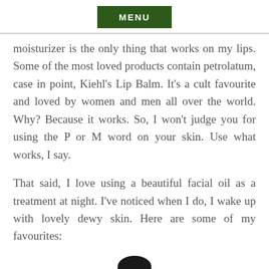MENU
moisturizer is the only thing that works on my lips. Some of the most loved products contain petrolatum, case in point, Kiehl’s Lip Balm. It’s a cult favourite and loved by women and men all over the world. Why? Because it works. So, I won’t judge you for using the P or M word on your skin. Use what works, I say.
That said, I love using a beautiful facial oil as a treatment at night. I’ve noticed when I do, I wake up with lovely dewy skin. Here are some of my favourites:
[Figure (photo): A dark/black cylindrical product bottle (appears to be a skincare or beauty product) shown from above, partially cropped at the bottom of the page.]